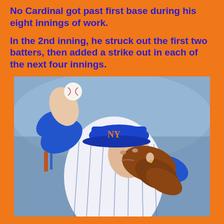No Cardinal got past first base during his eight innings of work.
In the 2nd inning, he struck out the first two batters, then added a strike out in each of the next four innings.
[Figure (photo): A New York Mets pitcher in a white pinstripe uniform and blue cap with the Mets logo winding up to throw a baseball, with long hair flowing behind. The photo is a close-up action shot.]